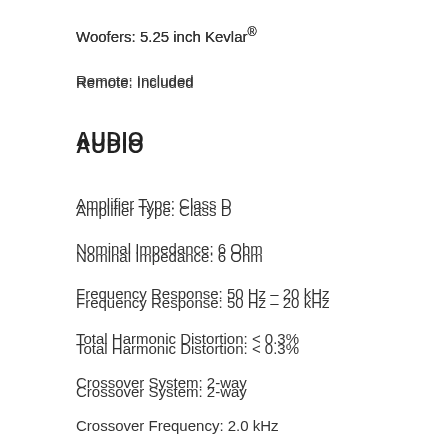Woofers: 5.25 inch Kevlar®
Remote: Included
AUDIO
Amplifier Type: Class D
Nominal Impedance: 6 Ohm
Frequency Response: 50 Hz – 20 kHz
Total Harmonic Distortion: < 0.3%
Crossover System: 2-way
Crossover Frequency: 2.0 kHz
INPUTS AND OUTPUTS